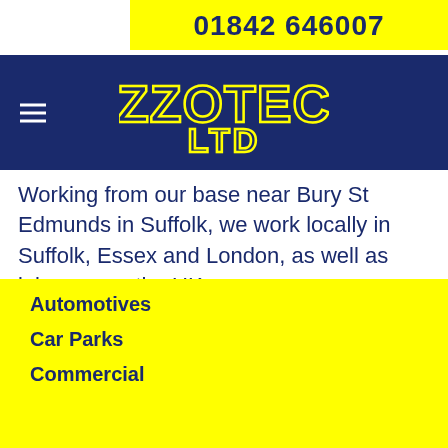01842 646007
[Figure (logo): Azzotech Ltd logo — yellow outlined block letters on dark navy blue background]
Working from our base near Bury St Edmunds in Suffolk, we work locally in Suffolk, Essex and London, as well as jobs across the UK.
Automotives
Car Parks
Commercial